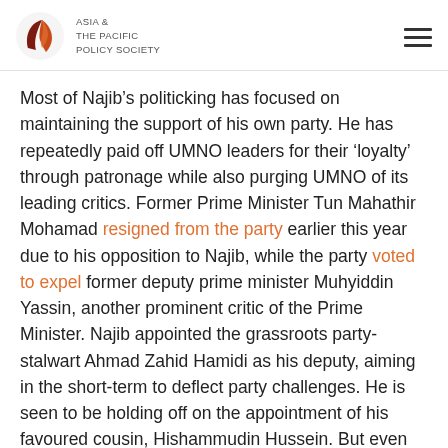ASIA & THE PACIFIC POLICY SOCIETY
Most of Najib’s politicking has focused on maintaining the support of his own party. He has repeatedly paid off UMNO leaders for their ‘loyalty’ through patronage while also purging UMNO of its leading critics. Former Prime Minister Tun Mahathir Mohamad resigned from the party earlier this year due to his opposition to Najib, while the party voted to expel former deputy prime minister Muhyiddin Yassin, another prominent critic of the Prime Minister. Najib appointed the grassroots party-stalwart Ahmad Zahid Hamidi as his deputy, aiming in the short-term to deflect party challenges. He is seen to be holding off on the appointment of his favoured cousin, Hishammudin Hussein. But even within UMNO dissatisfaction remains high due to the realisation that Najib is an electoral liability and UMNO could lose. This is